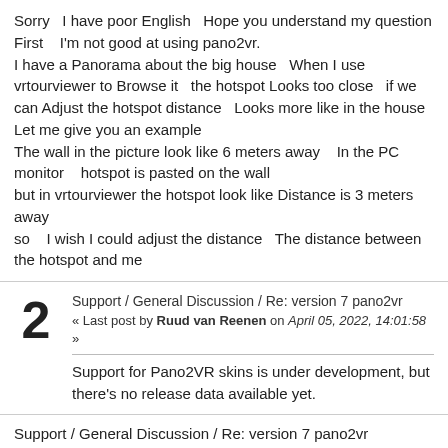Sorry   I have poor English   Hope you understand my question
First   I'm not good at using pano2vr.
I have a Panorama about the big house   When I use vrtourviewer to Browse it   the hotspot Looks too close   if we can Adjust the hotspot distance   Looks more like in the house
Let me give you an example
The wall in the picture look like 6 meters away   In the PC monitor   hotspot is pasted on the wall
but in vrtourviewer the hotspot look like Distance is 3 meters away
so   I wish I could adjust the distance   The distance between the hotspot and me
Support / General Discussion / Re: version 7 pano2vr
« Last post by Ruud van Reenen on April 05, 2022, 14:01:58 »
Support for Pano2VR skins is under development, but there's no release data available yet.
Support / General Discussion / Re: version 7 pano2vr